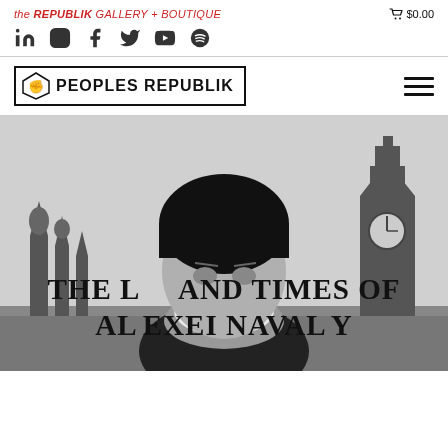the REPUBLIK GALLERY + BOUTIQUE    🛒 $0.00
[Figure (infographic): Social media icons row: LinkedIn, Instagram, Facebook, Twitter, YouTube, Spotify]
[Figure (logo): PEOPLES REPUBLIK logo with fist icon in bordered box, hamburger menu icon on right]
[Figure (photo): Black and white photo of a man wearing a black beanie and face mask, standing in front of Moscow's Red Square with Saint Basil's Cathedral and Kremlin tower visible. Large white text overlay reads: THE LIFE AND TIMES OF ALEXEI NAVALY]